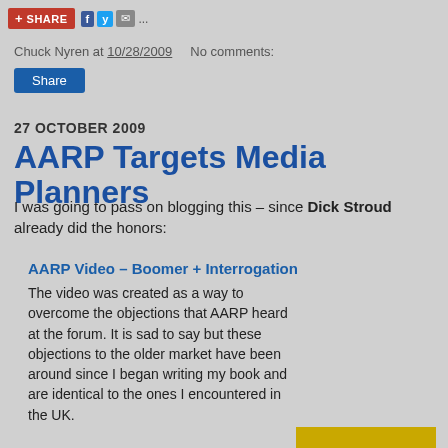Share | Facebook | Twitter | Email | ...
Chuck Nyren at 10/28/2009   No comments:
Share
27 OCTOBER 2009
AARP Targets Media Planners
I was going to pass on blogging this – since Dick Stroud already did the honors:
AARP Video – Boomer + Interrogation
The video was created as a way to overcome the objections that AARP heard at the forum. It is sad to say but these objections to the older market have been around since I began writing my book and are identical to the ones I encountered in the UK.
[Figure (photo): Headshot of a middle-aged man smiling, yellow background]